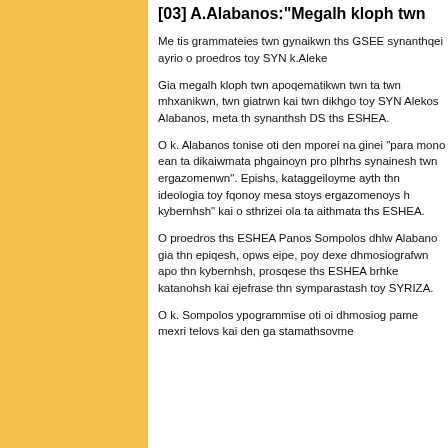[03] A.Alabanos:"Megalh kloph twn..."
Me tis grammateies twn gynaikwn ths GSEE synanthqei ayrio o proedros toy SYN k.Aleke...
Gia megalh kloph twn apoqematikwn twn ta... twn mhxanikwn, twn giatrwn kai twn dikhgo... toy SYN Alekos Alabanos, meta th synanthsh... DS ths ESHEA.
O k. Alabanos tonise oti den mporei na ginei "para mono ean ta dikaiwmata phgainoyn pro... plhrhs synainesh twn ergazomenwn". Epishs, kataggeiloyme ayth thn ideologia toy fqonoy... mesa stoys ergazomenoys h kybernhsh" kai o... sthrizei ola ta aithmata ths ESHEA.
O proedros ths ESHEA Panos Sompolos dhlw... Alabano gia thn epiqesh, opws eipe, poy dexe... dhmosiografwn apo thn kybernhsh, prosqese... ths ESHEA brhke katanohsh kai ejefrase thn symparastash toy SYRIZA.
O k. Sompolos ypogrammise oti oi dhmosiog... pame mexri telovs kai den ga stamathsovme...